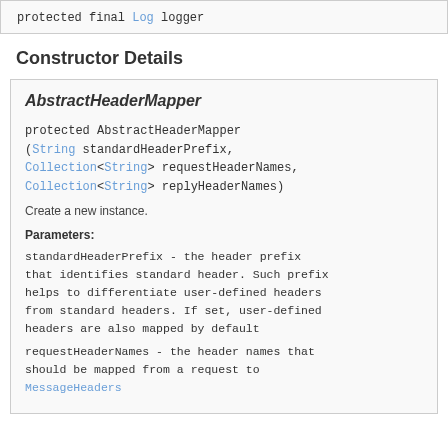protected final Log logger
Constructor Details
AbstractHeaderMapper
protected AbstractHeaderMapper(String standardHeaderPrefix, Collection<String> requestHeaderNames, Collection<String> replyHeaderNames)
Create a new instance.
Parameters:
standardHeaderPrefix - the header prefix that identifies standard header. Such prefix helps to differentiate user-defined headers from standard headers. If set, user-defined headers are also mapped by default
requestHeaderNames - the header names that should be mapped from a request to MessageHeaders